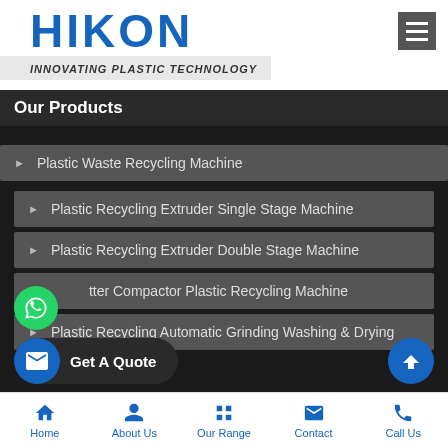HIKON
INNOVATING PLASTIC TECHNOLOGY
Our Products
Plastic Waste Recycling Machine
Plastic Recycling Extruder Single Stage Machine
Plastic Recycling Extruder Double Stage Machine
Cutter Compactor Plastic Recycling Machine
Plastic Recycling Automatic Grinding Washing & Drying
Pet Bottles Grinding Washing & Drying Plant
Home | About Us | Our Range | Contact | Call Us